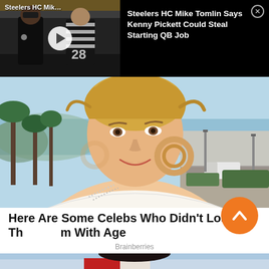[Figure (screenshot): Video ad banner with dark background. Left side shows a video thumbnail of Steelers HC Mike Tomlin talking to a referee on a football field, with a white play button overlay and title 'Steelers HC Mik...' in white text. Right side on black background shows the full headline 'Steelers HC Mike Tomlin Says Kenny Pickett Could Steal Starting QB Job' in white bold text, with a close (X) button in the top right corner.]
[Figure (photo): Photo of a smiling middle-aged woman with blonde upswept hair wearing large circular hoop earrings and a white off-shoulder top. Taken outdoors with palm trees, blue sky, and a coastal road in the background. Appears to be shot at Cannes.]
Here Are Some Celebs Who Didn't Lose Their Form With Age
Brainberries
[Figure (photo): Partial view of a woman with long dark hair wearing a red and white outfit, shown from mid-torso up. Only the lower portion of the image is visible as it is cut off at the bottom of the page.]